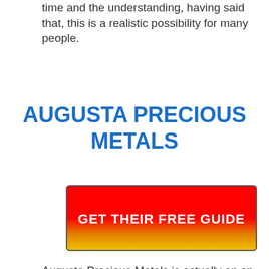time and the understanding, having said that, this is a realistic possibility for many people.
AUGUSTA PRECIOUS METALS
[Figure (other): Red to orange/yellow gradient button with bold white text reading GET THEIR FREE GUIDE]
Augusta Precious Metals is actually an on the web investment firm that supplies gold, silver and also platinum financial investments. Not for retirement saver's who have an interest in creating highly profitable rare-earth element investments. This